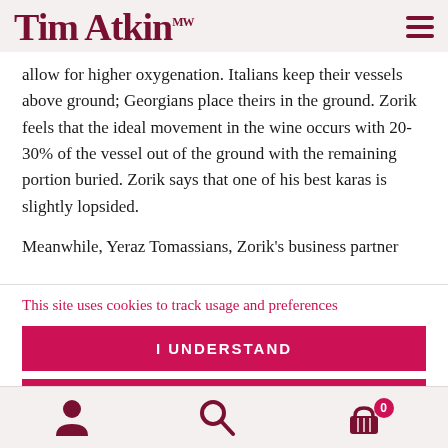Tim Atkin MW
allow for higher oxygenation. Italians keep their vessels above ground; Georgians place theirs in the ground. Zorik feels that the ideal movement in the wine occurs with 20-30% of the vessel out of the ground with the remaining portion buried. Zorik says that one of his best karas is slightly lopsided.
Meanwhile, Yeraz Tomassians, Zorik’s business partner
This site uses cookies to track usage and preferences
I UNDERSTAND
PRIVACY POLICY